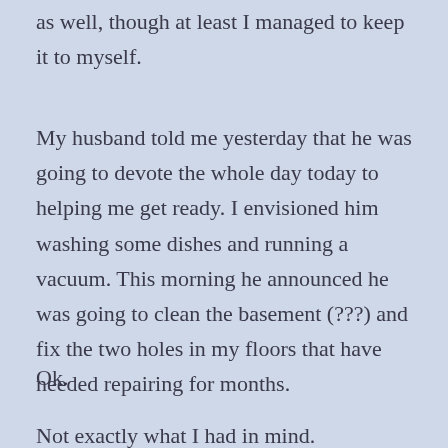as well, though at least I managed to keep it to myself.
My husband told me yesterday that he was going to devote the whole day today to helping me get ready. I envisioned him washing some dishes and running a vacuum. This morning he announced he was going to clean the basement (???) and fix the two holes in my floors that have needed repairing for months.
Ok.
Not exactly what I had in mind.